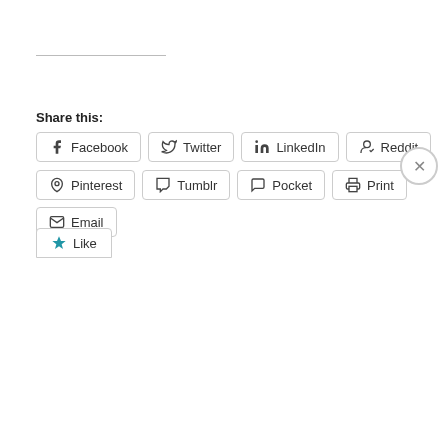Share this:
Facebook Twitter LinkedIn Reddit Pinterest Tumblr Pocket Print Email
Like
Privacy & Cookies: This site uses cookies. By continuing to use this website, you agree to their use. To find out more, including how to control cookies, see here: Cookie Policy
Close and accept